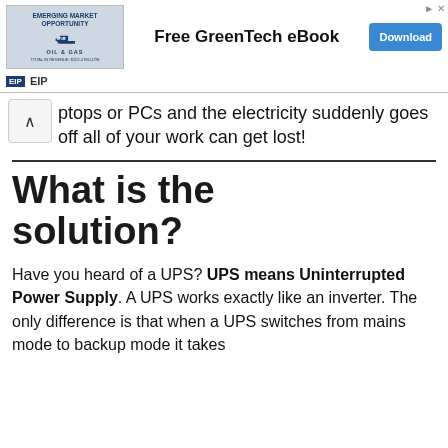[Figure (screenshot): Advertisement banner for a Free GreenTech eBook with an oil and gas emerging market opportunity image, a Download button, and EIP branding.]
ptops or PCs and the electricity suddenly goes off all of your work can get lost!
What is the solution?
Have you heard of a UPS? UPS means Uninterrupted Power Supply. A UPS works exactly like an inverter. The only difference is that when a UPS switches from mains mode to backup mode it takes